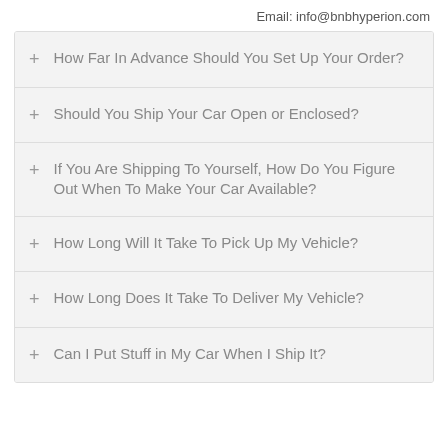Email: info@bnbhyperion.com
How Far In Advance Should You Set Up Your Order?
Should You Ship Your Car Open or Enclosed?
If You Are Shipping To Yourself, How Do You Figure Out When To Make Your Car Available?
How Long Will It Take To Pick Up My Vehicle?
How Long Does It Take To Deliver My Vehicle?
Can I Put Stuff in My Car When I Ship It?